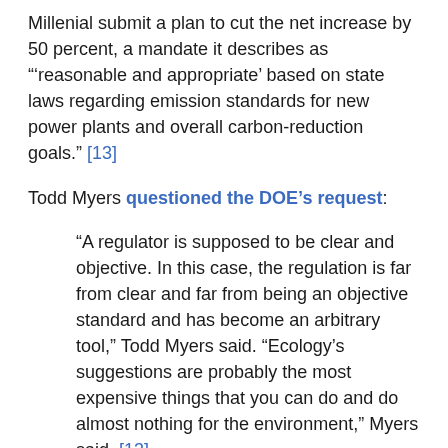Millenial submit a plan to cut the net increase by 50 percent, a mandate it describes as "'reasonable and appropriate' based on state laws regarding emission standards for new power plants and overall carbon-reduction goals." [13]
Todd Myers questioned the DOE's request:
“A regulator is supposed to be clear and objective. In this case, the regulation is far from clear and far from being an objective standard and has become an arbitrary tool,” Todd Myers said. “Ecology’s suggestions are probably the most expensive things that you can do and do almost nothing for the environment,” Myers said. [13]
January 20, 2016